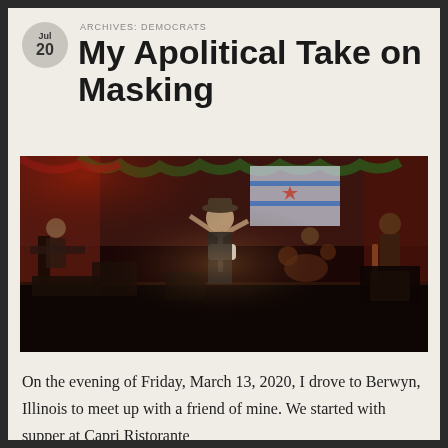ARCHIVES: DEMOCRATS
My Apolitical Take on Masking
[Figure (photo): A band performing on stage in a dimly lit venue. A guitarist in a cowboy hat stands center stage with arms raised, holding a white guitar. Other band members including a keyboard player on the left, a drummer in the center-back, and a bassist on the right. Red and green decorative lights and a Chicago flag are visible in the background.]
On the evening of Friday, March 13, 2020, I drove to Berwyn, Illinois to meet up with a friend of mine. We started with supper at Capri Ristorante